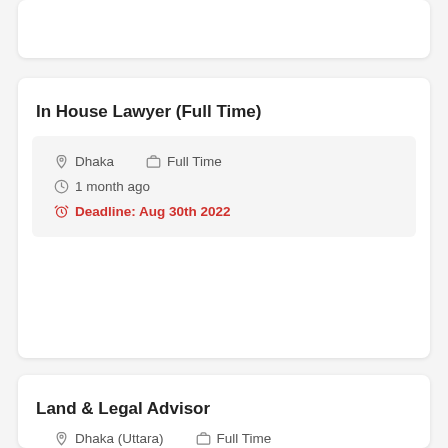In House Lawyer (Full Time)
Dhaka   Full Time   1 month ago   Deadline: Aug 30th 2022
Land & Legal Advisor
Dhaka (Uttara)   Full Time